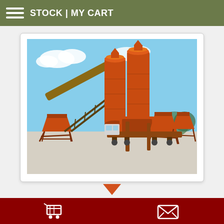STOCK | MY CART
[Figure (photo): Stationary concrete batching plant TOPMAC CBP45, orange-colored industrial equipment with silos, conveyors and hoppers on a concrete pad outdoors under blue sky]
STATIONARY CONCRETE BATCHING PLANT TOPMAC CBP45 45M3/H
NEW
ID - 0101